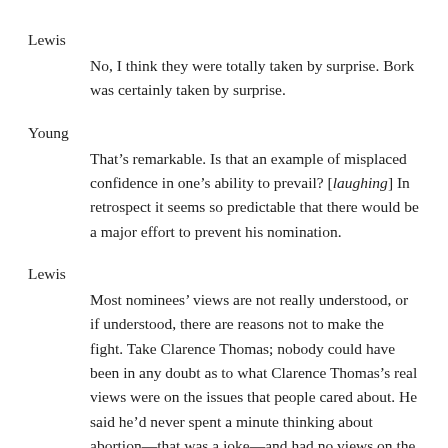Lewis
No, I think they were totally taken by surprise. Bork was certainly taken by surprise.
Young
That's remarkable. Is that an example of misplaced confidence in one's ability to prevail? [laughing] In retrospect it seems so predictable that there would be a major effort to prevent his nomination.
Lewis
Most nominees' views are not really understood, or if understood, there are reasons not to make the fight. Take Clarence Thomas; nobody could have been in any doubt as to what Clarence Thomas's real views were on the issues that people cared about. He said he'd never spent a minute thinking about abortion—that was a joke—and had no views on the subject. Well, his views were pretty well